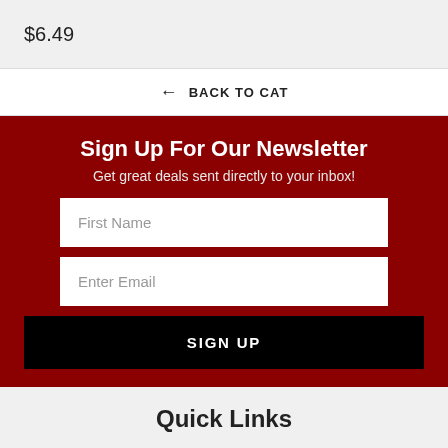$6.49
← BACK TO CAT
Sign Up For Our Newsletter
Get great deals sent directly to your inbox!
First Name
Enter Email
SIGN UP
Quick Links
Home
Search
Contact Us
Blog